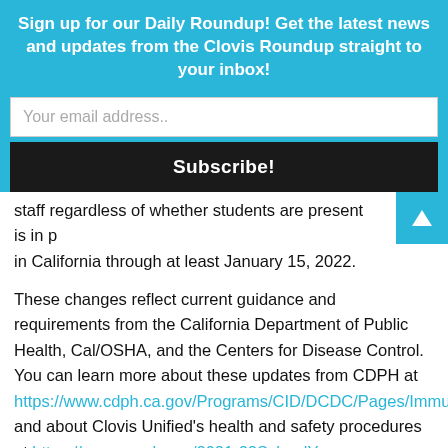Sign up for our Daily Roundup! Get the latest news and updates from the Clovis Roundup straight to your inbox!
Your email address..
Subscribe!
staff regardless of whether students are present is in p... in California through at least January 15, 2022.
These changes reflect current guidance and requirements from the California Department of Public Health, Cal/OSHA, and the Centers for Disease Control.  You can learn more about these updates from CDPH at https://www.cdph.ca.gov/Programs/CID/DCDC/Pages/Immunization/ncov2019.aspx, and about Clovis Unified’s health and safety procedures at https://www.cusd.com/2021-22SchoolYear.aspx.